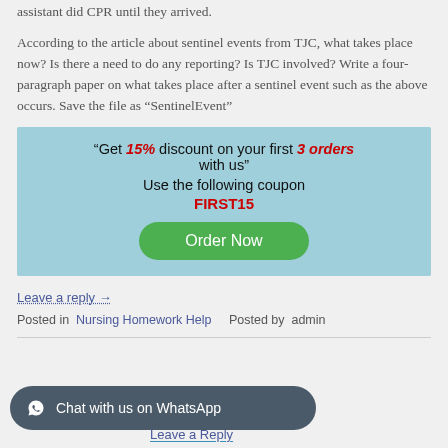assistant did CPR until they arrived.
According to the article about sentinel events from TJC, what takes place now? Is there a need to do any reporting? Is TJC involved? Write a four-paragraph paper on what takes place after a sentinel event such as the above occurs. Save the file as “SentinelEvent”
[Figure (infographic): Light blue promotional box: 'Get 15% discount on your first 3 orders with us' Use the following coupon FIRST15, Order Now button in green]
Leave a reply →
Posted in  Nursing Homework Help   Posted by  admin
[Figure (infographic): WhatsApp chat button: Chat with us on WhatsApp]